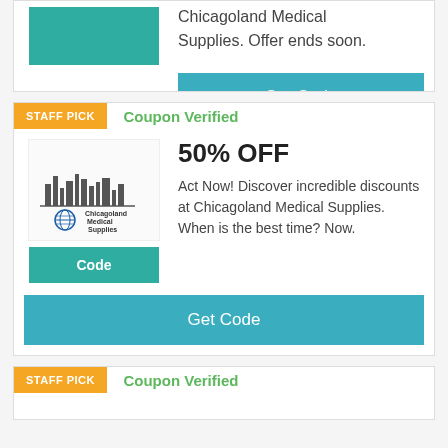Chicagoland Medical Supplies. Offer ends soon.
[Figure (other): Get Code button - teal rectangle]
[Figure (logo): Chicagoland Medical Supplies logo with skyline and globe icon]
STAFF PICK
Coupon Verified
50% OFF
Act Now! Discover incredible discounts at Chicagoland Medical Supplies. When is the best time? Now.
[Figure (other): Get Code button - teal rectangle]
STAFF PICK
Coupon Verified